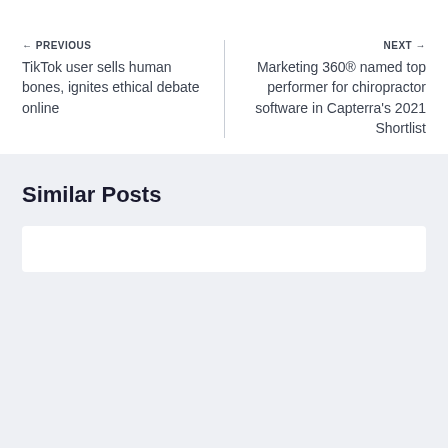← PREVIOUS
TikTok user sells human bones, ignites ethical debate online
NEXT →
Marketing 360® named top performer for chiropractor software in Capterra's 2021 Shortlist
Similar Posts